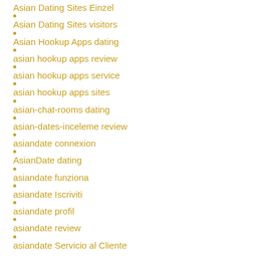Asian Dating Sites Einzel
Asian Dating Sites visitors
Asian Hookup Apps dating
asian hookup apps review
asian hookup apps service
asian hookup apps sites
asian-chat-rooms dating
asian-dates-inceleme review
asiandate connexion
AsianDate dating
asiandate funziona
asiandate Iscriviti
asiandate profil
asiandate review
asiandate Servicio al Cliente